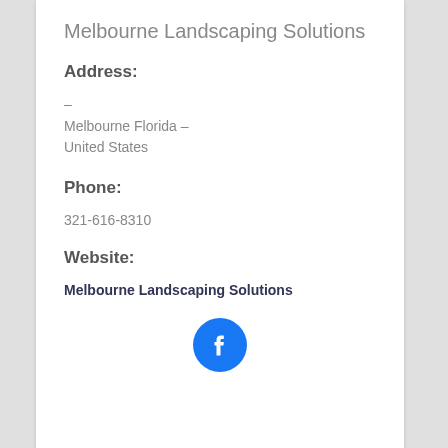Melbourne Landscaping Solutions
Address:
–
Melbourne Florida –
United States
Phone:
321-616-8310
Website:
Melbourne Landscaping Solutions
[Figure (logo): Facebook logo icon — blue circle with white 'f' letter]